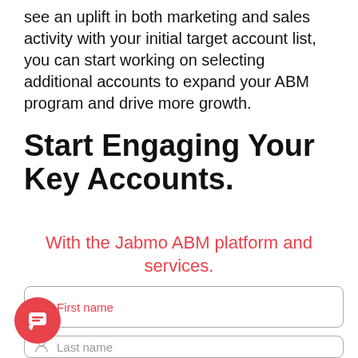see an uplift in both marketing and sales activity with your initial target account list, you can start working on selecting additional accounts to expand your ABM program and drive more growth.
Start Engaging Your Key Accounts.
With the Jabmo ABM platform and services.
[Figure (other): A web form input field with placeholder text 'First name' and a person icon on the left, styled with a rounded border.]
[Figure (other): A web form input field with placeholder text 'Last name' and a person icon on the left, styled with a rounded border (partially visible at bottom).]
[Figure (other): A red circular chat/messenger button in the bottom-left corner.]